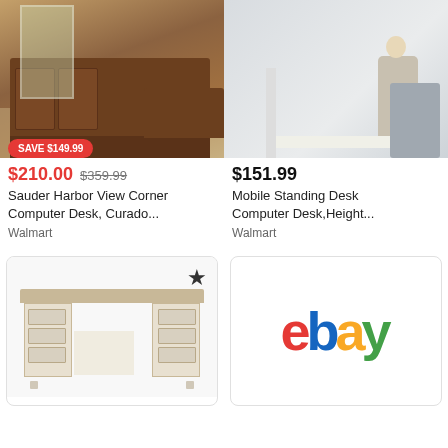[Figure (photo): Sauder Harbor View corner computer desk in a room setting, brown wood finish. Red badge: SAVE $149.99]
$210.00  $359.99
Sauder Harbor View Corner Computer Desk, Curado...
Walmart
[Figure (photo): Mobile Standing Desk - white adjustable desk with a person working at it and an office chair beside]
$151.99
Mobile Standing Desk Computer Desk,Height...
Walmart
[Figure (photo): White/cream executive desk with multiple drawers on both pedestals, star/bookmark icon in top right]
[Figure (logo): eBay logo in multicolor: e=red, b=blue, a=yellow, y=green]